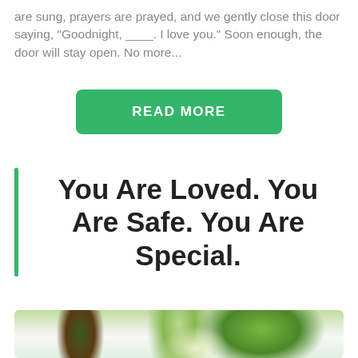are sung, prayers are prayed, and we gently close this door saying, "Goodnight, ____. I love you." Soon enough, the door will stay open. No more...
READ MORE
You Are Loved. You Are Safe. You Are Special.
[Figure (photo): A happy baby/toddler laughing and reaching out with arms spread, wearing a green outfit, outdoors with trees and sunlight in the background.]